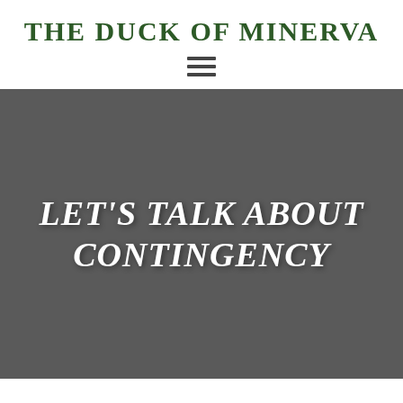THE DUCK OF MINERVA
[Figure (other): Hamburger menu icon (three horizontal lines)]
LET'S TALK ABOUT CONTINGENCY